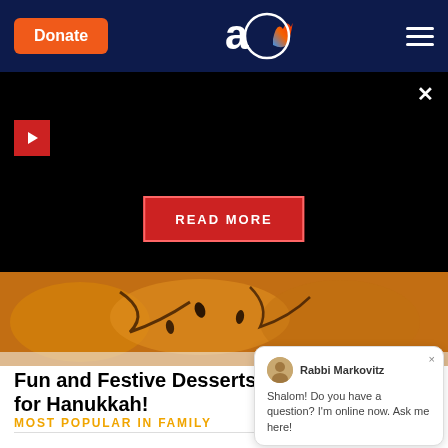Donate | Aish logo | Navigation menu
[Figure (screenshot): Black video overlay area with play button, close X, and READ MORE button]
[Figure (photo): Close-up photo of fried Hanukkah dessert food with chocolate drizzle]
Fun and Festive Desserts for Hanukkah!
MOST POPULAR IN FAMILY
Shalom! Do you have a question? I'm online now. Ask me here!